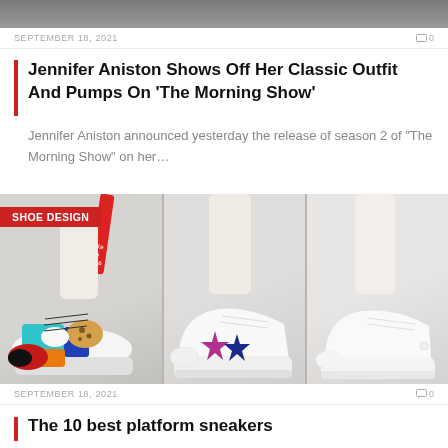[Figure (photo): Top portion of a photo, dark/gray background strip at top]
SEPTEMBER 18, 2021
Jennifer Aniston Shows Off Her Classic Outfit And Pumps On 'The Morning Show'
Jennifer Aniston announced yesterday the release of season 2 of “The Morning Show” on her…
[Figure (photo): Three-panel image of platform sneakers with SHOE DESIGN label overlay. Left panel: colorful chunky sneaker with leopard print, blue, teal, orange, red panels and red strap. Middle panel: white platform sneaker with star embellishments. Right panel: white clean platform sneaker.]
SEPTEMBER 18, 2021
The 10 best platform sneakers